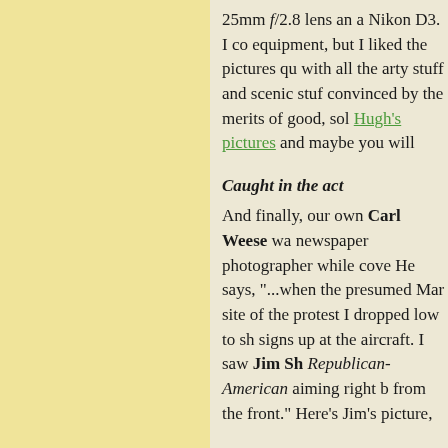25mm f/2.8 lens an a Nikon D3. I co equipment, but I liked the pictures qu with all the arty stuff and scenic stuf convinced by the merits of good, sol Hugh's pictures and maybe you will
Caught in the act
And finally, our own Carl Weese wa newspaper photographer while cove He says, "...when the presumed Mar site of the protest I dropped low to sh signs up at the aircraft. I saw Jim Sh Republican-American aiming right b from the front." Here's Jim's picture,